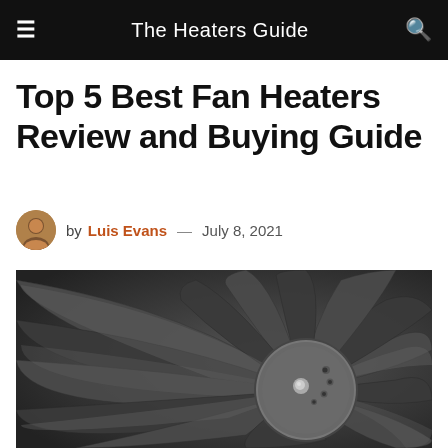The Heaters Guide
Top 5 Best Fan Heaters Review and Buying Guide
by Luis Evans — July 8, 2021
[Figure (photo): Close-up black and white photo of a jet engine turbine fan blades with a central hub visible]